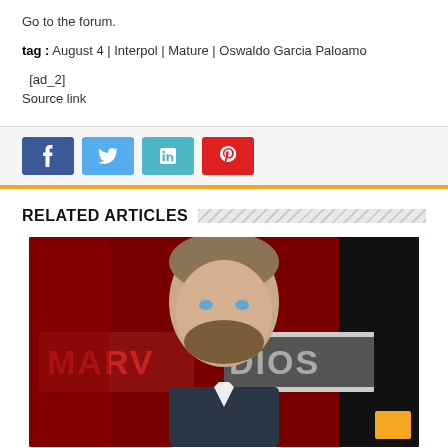Go to the forum.
tag : August 4 | Interpol | Mature | Oswaldo Garcia Paloamo
[ad_2]
Source link
[Figure (other): Social sharing buttons: Facebook (blue), Twitter (light blue), LinkedIn (teal), Pinterest (red)]
RELATED ARTICLES
[Figure (photo): Photo of a man with beard in front of a Marvel Studios backdrop/logo on a red background]